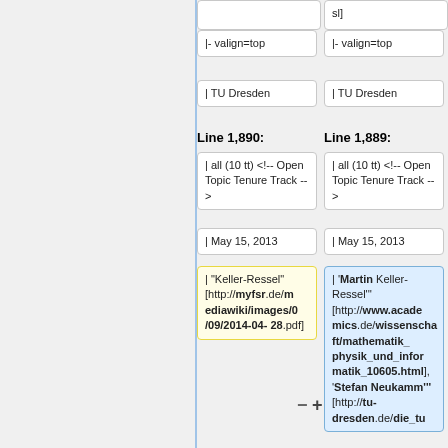|- valign=top
|- valign=top
| TU Dresden
| TU Dresden
Line 1,890:
Line 1,889:
| all (10 tt) <!-- Open Topic Tenure Track -->
| all (10 tt) <!-- Open Topic Tenure Track -->
| May 15, 2013
| May 15, 2013
| "Keller-Ressel" [http://myfsr.de/mediawiki/images/0/09/2014-04-28.pdf]
| '''Martin Keller-Ressel''' [http://www.academics.de/wissenschaft/mathematik_physik_und_informatik_10605.html], '''Stefan Neukamm''' [http://tu-dresden.de/die_tu